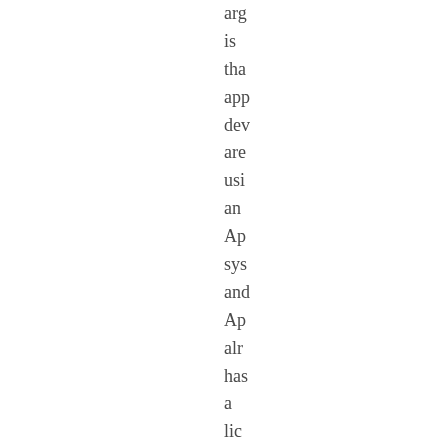arg
is
tha
app
dev
are
usi
an
Ap
sys
and
Ap
alr
has
a
lic
for
the
pat